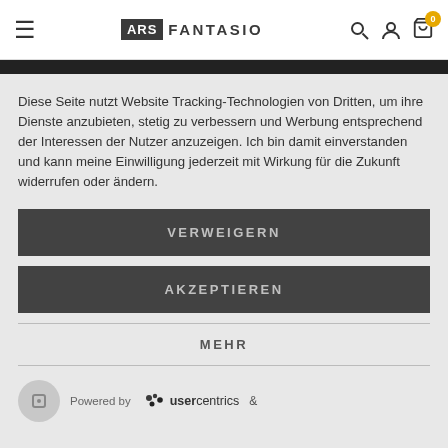ARS FANTASIO
Diese Seite nutzt Website Tracking-Technologien von Dritten, um ihre Dienste anzubieten, stetig zu verbessern und Werbung entsprechend der Interessen der Nutzer anzuzeigen. Ich bin damit einverstanden und kann meine Einwilligung jederzeit mit Wirkung für die Zukunft widerrufen oder ändern.
VERWEIGERN
AKZEPTIEREN
MEHR
Powered by usercentrics &